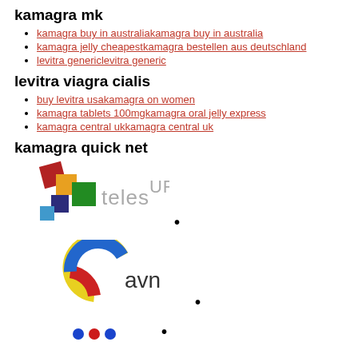kamagra mk
kamagra buy in australiakamagra buy in australia
kamagra jelly cheapestkamagra bestellen aus deutschland
levitra genericlevitra generic
levitra viagra cialis
buy levitra usakamagra on women
kamagra tablets 100mgkamagra oral jelly express
kamagra central ukkamagra central uk
kamagra quick net
[Figure (logo): TeleSUR logo with colorful squares and TeleSUR text]
[Figure (logo): AVN logo with circular colorful swoosh and avn text]
[Figure (logo): Colored dots pattern logo (partial)]